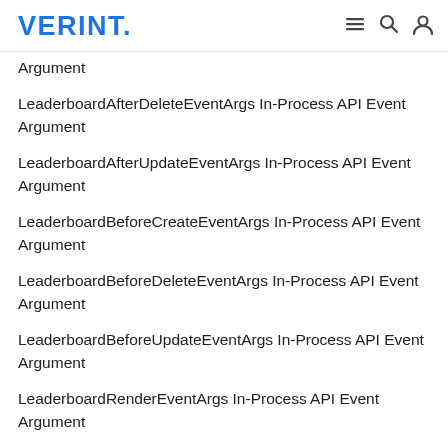VERINT.
Argument
LeaderboardAfterDeleteEventArgs In-Process API Event Argument
LeaderboardAfterUpdateEventArgs In-Process API Event Argument
LeaderboardBeforeCreateEventArgs In-Process API Event Argument
LeaderboardBeforeDeleteEventArgs In-Process API Event Argument
LeaderboardBeforeUpdateEventArgs In-Process API Event Argument
LeaderboardRenderEventArgs In-Process API Event Argument
LikeAfterCreateEventArgs In-Process API Event Argument
LikeAfterDeleteEventArgs In-Process API Event Argument
LikeBeforeCreateEventArgs In-Process API Event Argument
LikeBeforeDeleteEventArgs In-Process API Event Argument
MediaAfterCreateEventArgs In-Process API Event Argument
MediaAfterDeleteEventArgs In-Process API Event Argument
MediaAfterUpdateEventArgs In-Process API Event Argument